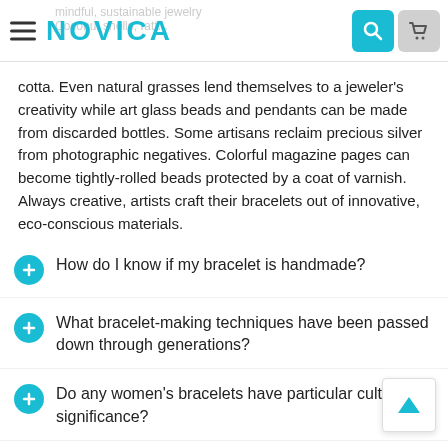NOVICA
cotta. Even natural grasses lend themselves to a jeweler's creativity while art glass beads and pendants can be made from discarded bottles. Some artisans reclaim precious silver from photographic negatives. Colorful magazine pages can become tightly-rolled beads protected by a coat of varnish. Always creative, artists craft their bracelets out of innovative, eco-conscious materials.
How do I know if my bracelet is handmade?
What bracelet-making techniques have been passed down through generations?
Do any women's bracelets have particular cultural significance?
What are the most popular materials to make women's bracelets?